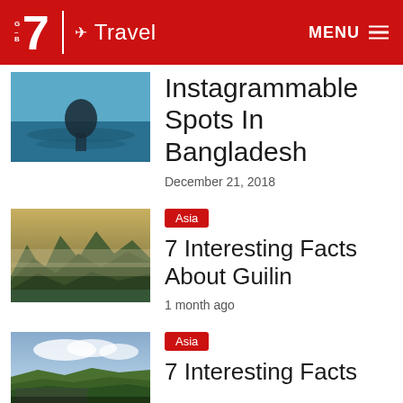B7 Travel MENU
[Figure (photo): Aerial or overhead photo of water with dark figure, Bangladesh travel]
Instagrammable Spots In Bangladesh
December 21, 2018
[Figure (photo): Aerial photo of misty karst mountains in Guilin, China]
Asia
7 Interesting Facts About Guilin
1 month ago
[Figure (photo): Aerial photo of Batam island with text WELCOME TO BATAM]
Asia
7 Interesting Facts